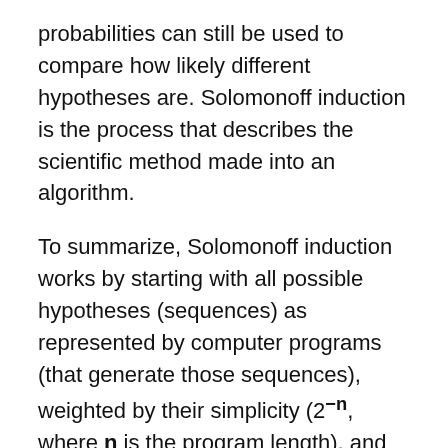probabilities can still be used to compare how likely different hypotheses are. Solomonoff induction is the process that describes the scientific method made into an algorithm.
To summarize, Solomonoff induction works by starting with all possible hypotheses (sequences) as represented by computer programs (that generate those sequences), weighted by their simplicity (2^{-n}, where n is the program length), and discarding those hypotheses that are inconsistent with the data. Weighting hypotheses by simplicity, the system automatically incorporates a form of Occam's Razor.
Turning now to 'ad hoc' hypotheses and the Razor. In science and philosophy, an 'ad hoc hypothesis' is a hypothesis added to a theory in order to save it from being